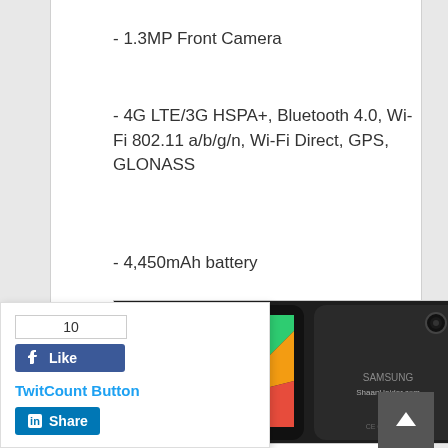- 1.3MP Front Camera
- 4G LTE/3G HSPA+, Bluetooth 4.0, Wi-Fi 802.11 a/b/g/n, Wi-Fi Direct, GPS, GLONASS
- 4,450mAh battery
[Figure (photo): Samsung Galaxy Tab 4 7.0 shown from front and back. Front shows colorful polygon wallpaper and 12:45 PM time. Back shows Samsung logo and ShaanHaider.com watermark. Dark/black color.]
[Figure (screenshot): Social sharing widget with Facebook Like button showing count of 10, TwitCount Button link in blue, and LinkedIn Share button.]